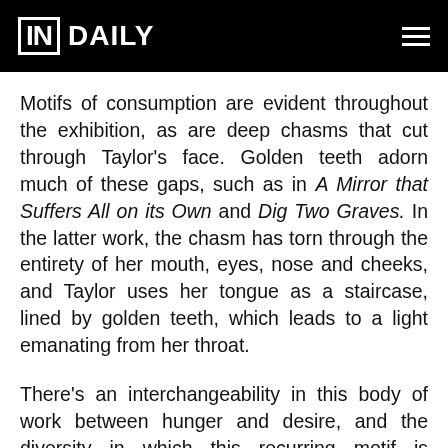IN DAILY
Motifs of consumption are evident throughout the exhibition, as are deep chasms that cut through Taylor's face. Golden teeth adorn much of these gaps, such as in A Mirror that Suffers All on its Own and Dig Two Graves. In the latter work, the chasm has torn through the entirety of her mouth, eyes, nose and cheeks, and Taylor uses her tongue as a staircase, lined by golden teeth, which leads to a light emanating from her throat.
There's an interchangeability in this body of work between hunger and desire, and the diversity in which this recurring motif is represented suggests different feelings and